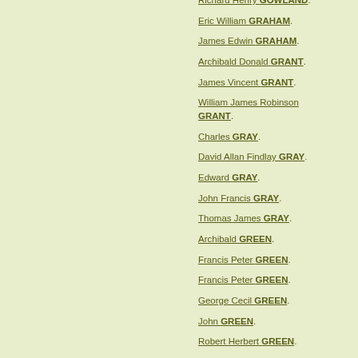Richard Henry GOWLAND.
Eric William GRAHAM.
James Edwin GRAHAM.
Archibald Donald GRANT.
James Vincent GRANT.
William James Robinson GRANT.
Charles GRAY.
David Allan Findlay GRAY.
Edward GRAY.
John Francis GRAY.
Thomas James GRAY.
Archibald GREEN.
Francis Peter GREEN.
Francis Peter GREEN.
George Cecil GREEN.
John GREEN.
Robert Herbert GREEN.